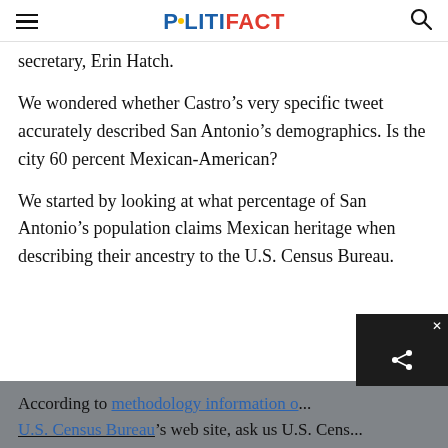POLITIFACT
secretary, Erin Hatch.
We wondered whether Castro’s very specific tweet accurately described San Antonio’s demographics. Is the city 60 percent Mexican-American?
We started by looking at what percentage of San Antonio’s population claims Mexican heritage when describing their ancestry to the U.S. Census Bureau.
According to methodology information o... U.S. Census Bureau’s web site, ask us U.S. Cens...